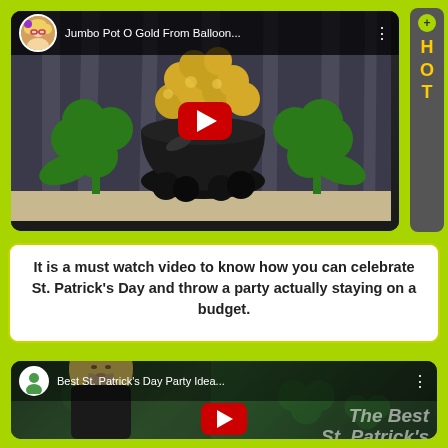[Figure (screenshot): YouTube video thumbnail: Jumbo Pot O Gold From Balloon... showing a balloon pot of gold with green shamrocks]
It is a must watch video to know how you can celebrate St. Patrick's Day and throw a party actually staying on a budget.
[Figure (screenshot): YouTube video thumbnail: Best St. Patrick's Day Party Ideas... showing a woman and text 'The Best St. Patrick's Day Party Ideas on a Budget']